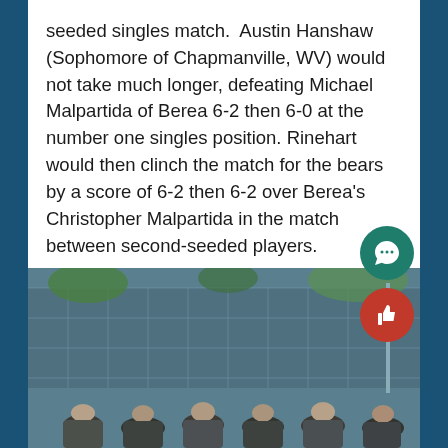seeded singles match.  Austin Hanshaw (Sophomore of Chapmanville, WV) would not take much longer, defeating Michael Malpartida of Berea 6-2 then 6-0 at the number one singles position. Rinehart would then clinch the match for the bears by a score of 6-2 then 6-2 over Berea's Christopher Malpartida in the match between second-seeded players.
[Figure (photo): A group photo of a sports team (tennis) standing on a court in front of a chain-link fence with trees visible in the background.]